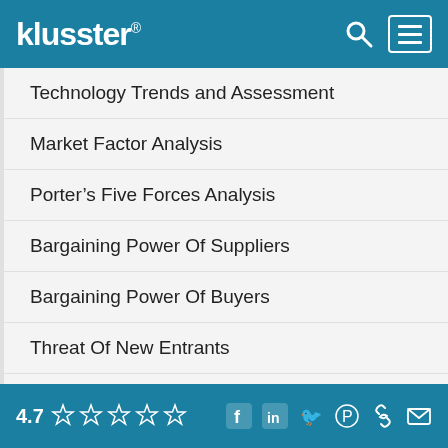klusster®
Technology Trends and Assessment
Market Factor Analysis
Porter's Five Forces Analysis
Bargaining Power Of Suppliers
Bargaining Power Of Buyers
Threat Of New Entrants
Threat Of Substitutes
Intensity Of Rivalry
Value Chain Analysis
4.7 ☆☆☆☆☆